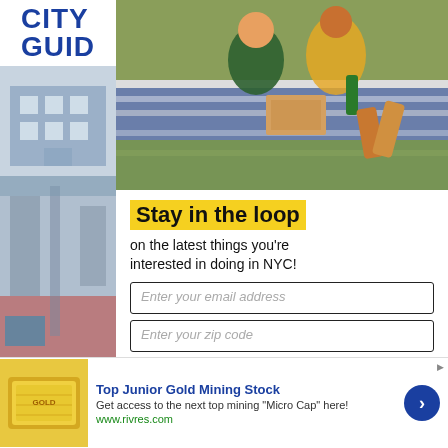[Figure (logo): City Guide logo - blue bold text CITY GUID (partially visible)]
[Figure (photo): Two people having a picnic on a blanket outdoors, opening a pizza box, with a green bottle nearby]
[Figure (photo): Exterior facade of a building, small thumbnail]
[Figure (photo): Interior of a building/room with red floor and structural elements]
Ellis Island' age as it di Immigratio immigrants
Stay in the loop
on the latest things you're interested in doing in NYC!
Enter your email address
Enter your zip code
SUBSCRIBE
[Figure (infographic): Advertisement banner: Top Junior Gold Mining Stock - gold bar image, blue arrow button, www.rivres.com]